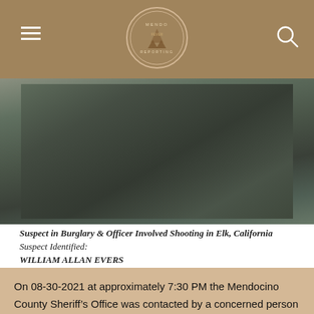MendoFever Reporting (logo/header bar)
[Figure (photo): Blurry outdoor photo showing a road or pavement surface, appears to be surveillance or low-quality camera footage related to a suspect in a burglary and officer-involved shooting in Elk, California.]
Suspect in Burglary & Officer Involved Shooting in Elk, California
Suspect Identified:
WILLIAM ALLAN EVERS
40 year-old male
Photo Date:  08-30-2021
Location:  31000 block of Middle Ridge Road in Albion, CA
[Picture and Caption provided by the Mendocino County Sheriff's Office]
On 08-30-2021 at approximately 7:30 PM the Mendocino County Sheriff's Office was contacted by a concerned person who had contacted an adult male in their